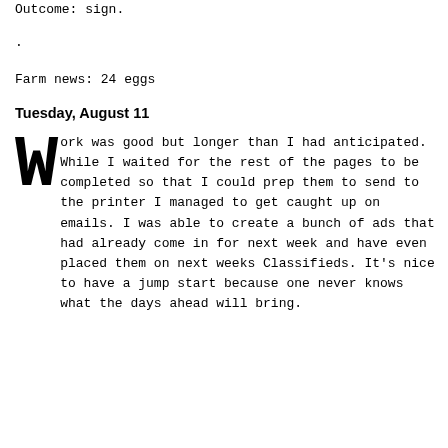Outcome: sign.
.
Farm news: 24 eggs
Tuesday, August 11
Work was good but longer than I had anticipated. While I waited for the rest of the pages to be completed so that I could prep them to send to the printer I managed to get caught up on emails. I was able to create a bunch of ads that had already come in for next week and have even placed them on next weeks Classifieds. It’s nice to have a jump start because one never knows what the days ahead will bring.